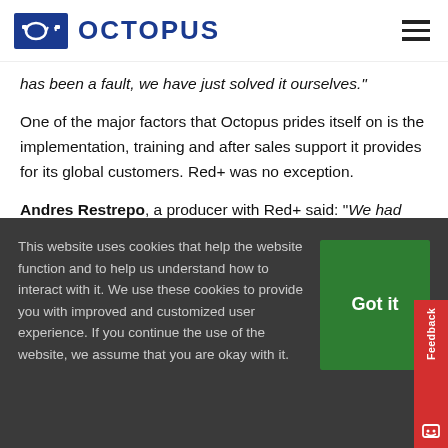OCTOPUS
has been a fault, we have just solved it ourselves."
One of the major factors that Octopus prides itself on is the implementation, training and after sales support it provides for its global customers. Red+ was no exception.
Andres Restrepo, a producer with Red+ said: "We had
This website uses cookies that help the website function and to help us understand how to interact with it. We use these cookies to provide you with improved and customized user experience. If you continue the use of the website, we assume that you are okay with it.